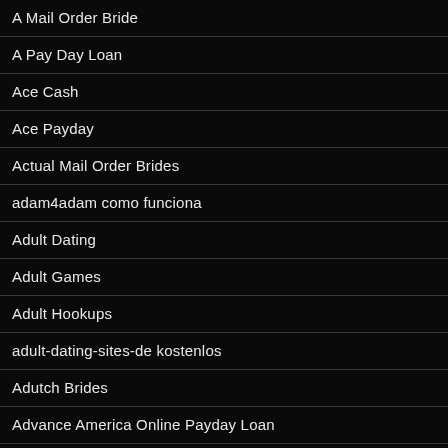A Mail Order Bride
A Pay Day Loan
Ace Cash
Ace Payday
Actual Mail Order Brides
adam4adam como funciona
Adult Dating
Adult Games
Adult Hookups
adult-dating-sites-de kostenlos
Adutch Brides
Advance America Online Payday Loan
Advance Financial 24/7